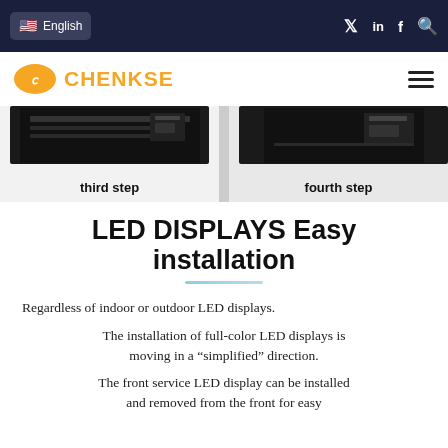English | Twitter | LinkedIn | Facebook | Search
[Figure (logo): CHENKSE logo with orange oval and running figure, orange text CHENKSE]
[Figure (photo): Installation steps showing third step and fourth step images of LED display panels]
third step
fourth step
LED DISPLAYS Easy installation
Regardless of indoor or outdoor LED displays.
The installation of full-color LED displays is moving in a “simplified” direction.
The front service LED display can be installed and removed from the front for easy